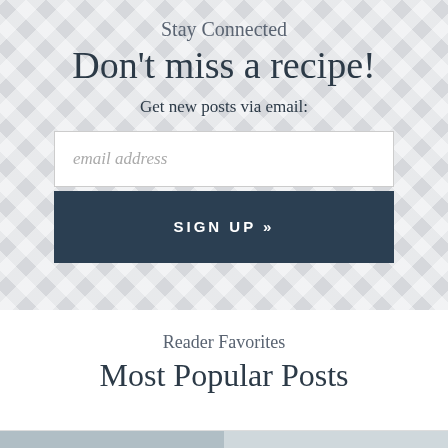Stay Connected
Don't miss a recipe!
Get new posts via email:
email address
SIGN UP »
Reader Favorites
Most Popular Posts
[Figure (photo): Two food photos side by side at the bottom of the page]